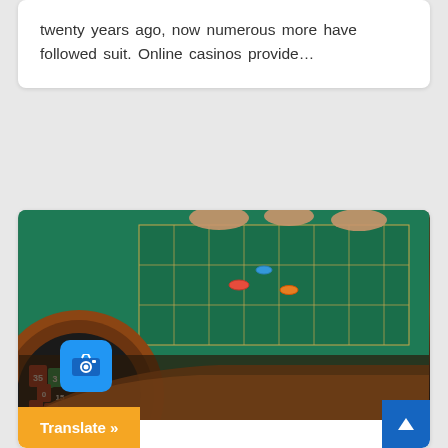twenty years ago, now numerous more have followed suit. Online casinos provide…
[Figure (photo): Casino roulette wheel and green felt betting table with players' hands visible. A blue camera icon overlay appears in the lower-left corner of the image.]
CASINO
8 Things That Every Casino Player Should Avoid